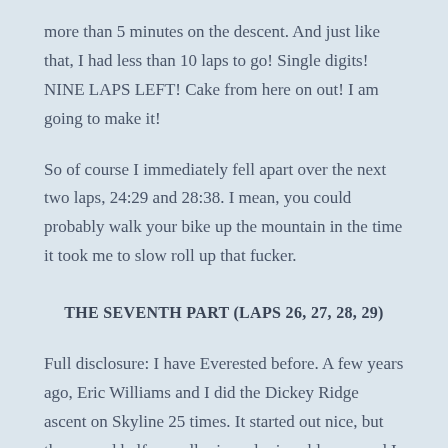more than 5 minutes on the descent. And just like that, I had less than 10 laps to go! Single digits! NINE LAPS LEFT! Cake from here on out! I am going to make it!
So of course I immediately fell apart over the next two laps, 24:29 and 28:38. I mean, you could probably walk your bike up the mountain in the time it took me to slow roll up that fucker.
THE SEVENTH PART (LAPS 26, 27, 28, 29)
Full disclosure: I have Everested before. A few years ago, Eric Williams and I did the Dickey Ridge ascent on Skyline 25 times. It started out nice, but the second half was all rain and miserableness and I swore to god I would never